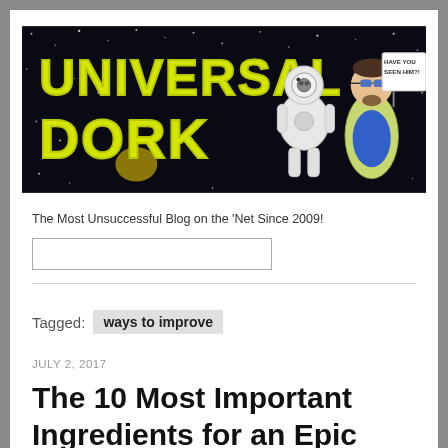[Figure (illustration): Universal Dork blog banner: black space background with yellow bubble-letter text 'UNIVERSAL DORK', a white cartoon robot (BB8-style), and a cartoon man in blue shirt with a sign reading 'HAVE YOU SEEN HIM?!']
The Most Unsuccessful Blog on the 'Net Since 2009!
Tagged: ways to improve
JULY 2, 2017
The 10 Most Important Ingredients for an Epic D&D